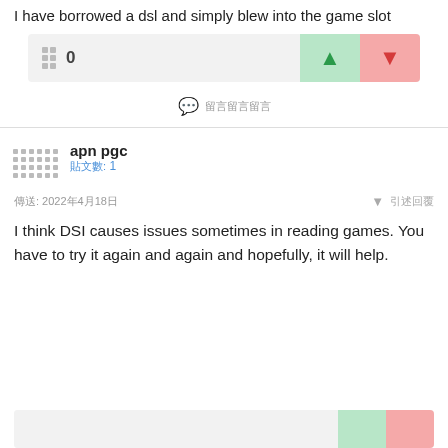I have borrowed a dsl and simply blew into the game slot
0
留言
apn pgc
貼文數: 1
傳送: 2022年4月18日
I think DSI causes issues sometimes in reading games. You have to try it again and again and hopefully, it will help.